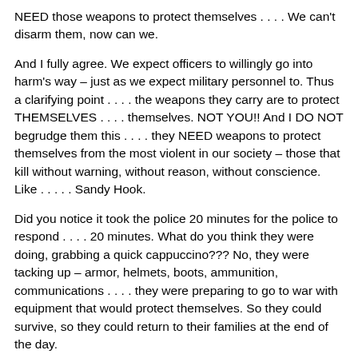NEED those weapons to protect themselves . . . . We can't disarm them, now can we.
And I fully agree. We expect officers to willingly go into harm's way – just as we expect military personnel to. Thus a clarifying point . . . . the weapons they carry are to protect THEMSELVES . . . . themselves. NOT YOU!! And I DO NOT begrudge them this . . . . they NEED weapons to protect themselves from the most violent in our society – those that kill without warning, without reason, without conscience. Like . . . . . Sandy Hook.
Did you notice it took the police 20 minutes for the police to respond . . . . 20 minutes. What do you think they were doing, grabbing a quick cappuccino??? No, they were tacking up – armor, helmets, boots, ammunition, communications . . . . they were preparing to go to war with equipment that would protect themselves. So they could survive, so they could return to their families at the end of the day.
The children?????? Not so much. Evil roamed freely with his weapons of choice to slaughter our innocents. He had